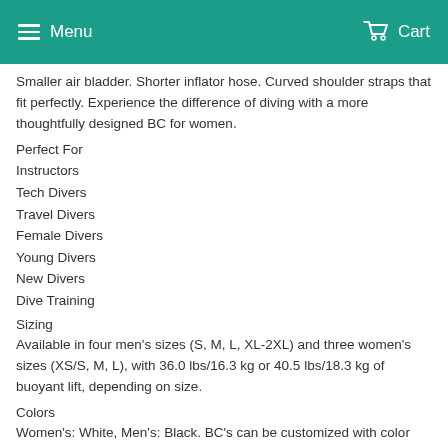Menu  Cart
Smaller air bladder. Shorter inflator hose. Curved shoulder straps that fit perfectly. Experience the difference of diving with a more thoughtfully designed BC for women.
Perfect For
Instructors
Tech Divers
Travel Divers
Female Divers
Young Divers
New Divers
Dive Training
Sizing
Available in four men's sizes (S, M, L, XL-2XL) and three women's sizes (XS/S, M, L), with 36.0 lbs/16.3 kg or 40.5 lbs/18.3 kg of buoyant lift, depending on size.
Colors
Women's: White, Men's: Black. BC's can be customized with color kits.
Availability
Varies by Region and Color. *Not all colors will be available in all sizes immediately.
Color Kits available to match the Seawing Novas (White, Black, Purple, Pink...